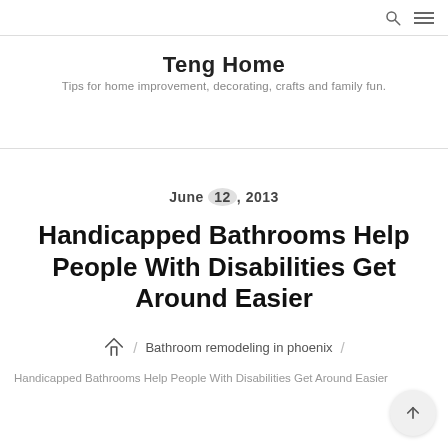Teng Home — search and menu icons
Teng Home
Tips for home improvement, decorating, crafts and family fun.
June 12, 2013
Handicapped Bathrooms Help People With Disabilities Get Around Easier
Home / Bathroom remodeling in phoenix /
Handicapped Bathrooms Help People With Disabilities Get Around Easier